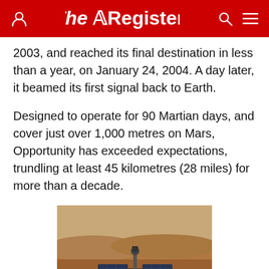The Register
2003, and reached its final destination in less than a year, on January 24, 2004. A day later, it beamed its first signal back to Earth.
Designed to operate for 90 Martian days, and cover just over 1,000 metres on Mars, Opportunity has exceeded expectations, trundling at least 45 kilometres (28 miles) for more than a decade.
[Figure (photo): Mars Opportunity rover on the Martian surface, showing solar panels and wheels on reddish-brown rocky terrain with hills in background]
Sorry, but NASA says Mars signal